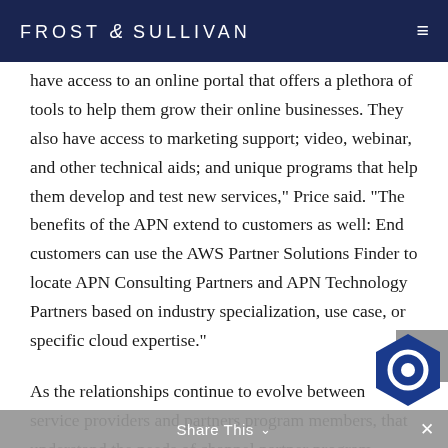FROST & SULLIVAN
have access to an online portal that offers a plethora of tools to help them grow their online businesses. They also have access to marketing support; video, webinar, and other technical aids; and unique programs that help them develop and test new services," Price said. "The benefits of the APN extend to customers as well: End customers can use the AWS Partner Solutions Finder to locate APN Consulting Partners and APN Technology Partners based on industry specialization, use case, or specific cloud expertise."
As the relationships continue to evolve between service providers and partners program members, that understand the needs of channel partner program